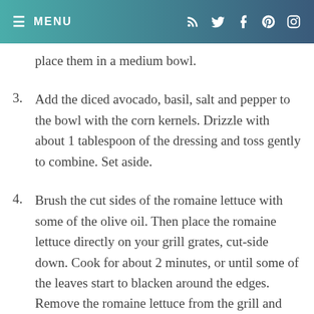MENU
place them in a medium bowl.
3. Add the diced avocado, basil, salt and pepper to the bowl with the corn kernels. Drizzle with about 1 tablespoon of the dressing and toss gently to combine. Set aside.
4. Brush the cut sides of the romaine lettuce with some of the olive oil. Then place the romaine lettuce directly on your grill grates, cut-side down. Cook for about 2 minutes, or until some of the leaves start to blacken around the edges. Remove the romaine lettuce from the grill and place each half cut-side up on a serving plate.
5. [partial, cut off]